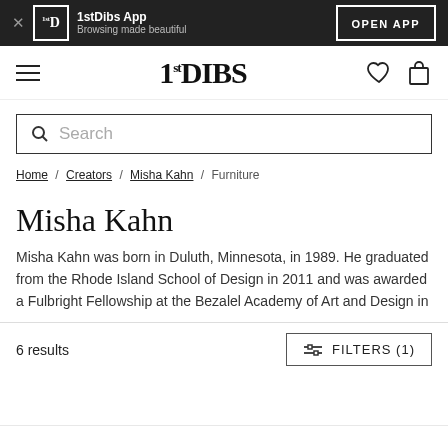1stDibs App — Browsing made beautiful — OPEN APP
[Figure (screenshot): 1stDibs navigation bar with hamburger menu, 1stDIBS logo, heart and cart icons]
Search
Home / Creators / Misha Kahn / Furniture
Misha Kahn
Misha Kahn was born in Duluth, Minnesota, in 1989. He graduated from the Rhode Island School of Design in 2011 and was awarded a Fulbright Fellowship at the Bezalel Academy of Art and Design in
6 results
FILTERS (1)